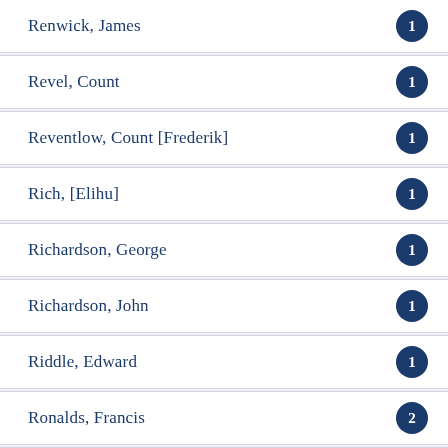Renwick, James — 1
Revel, Count — 1
Reventlow, Count [Frederik] — 1
Rich, [Elihu] — 1
Richardson, George — 1
Richardson, John — 1
Riddle, Edward — 1
Ronalds, Francis — 2
Ross, James Clark — 2